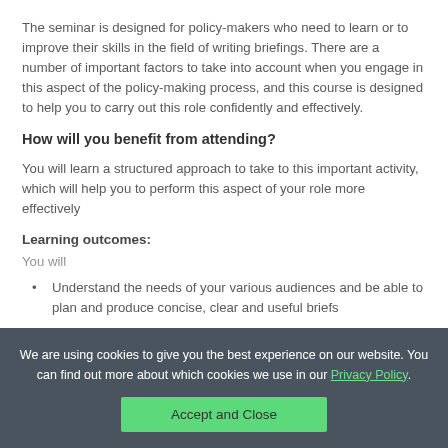The seminar is designed for policy-makers who need to learn or to improve their skills in the field of writing briefings. There are a number of important factors to take into account when you engage in this aspect of the policy-making process, and this course is designed to help you to carry out this role confidently and effectively.
How will you benefit from attending?
You will learn a structured approach to take to this important activity, which will help you to perform this aspect of your role more effectively
Learning outcomes:
You will
Understand the needs of your various audiences and be able to plan and produce concise, clear and useful briefs
We are using cookies to give you the best experience on our website. You can find out more about which cookies we use in our Privacy Policy.
Accept and Close